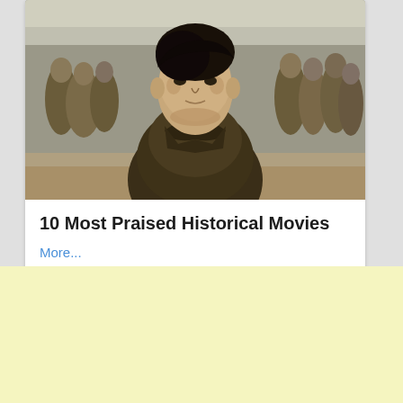[Figure (photo): Movie still from a war film showing a young soldier in a dark jacket standing in the foreground on a beach, with other soldiers visible in the background]
10 Most Praised Historical Movies
More...
👍 670  💬 168  ➤ 223
[Figure (other): Yellow/cream colored advertisement block]